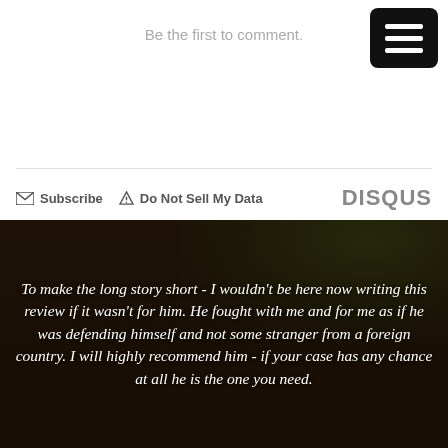Be the first to comment.
Subscribe  Do Not Sell My Data  DISQUS
[Figure (photo): Dark background photo of an older man in a suit with greenery behind him, overlaid with a white italic testimonial quote.]
To make the long story short - I wouldn't be here now writing this review if it wasn't for him. He fought with me and for me as if he was defending himself and not some stranger from a foreign country. I will highly recommend him - if your case has any chance at all he is the one you need.